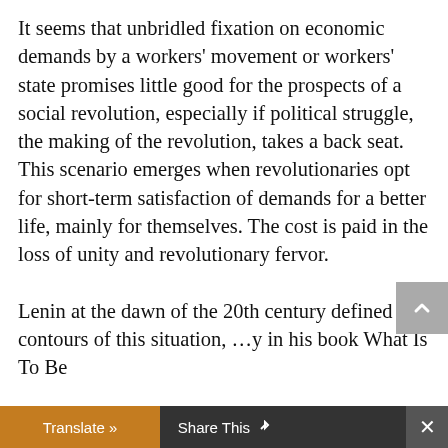It seems that unbridled fixation on economic demands by a workers' movement or workers' state promises little good for the prospects of a social revolution, especially if political struggle, the making of the revolution, takes a back seat. This scenario emerges when revolutionaries opt for short-term satisfaction of demands for a better life, mainly for themselves. The cost is paid in the loss of unity and revolutionary fervor.

Lenin at the dawn of the 20th century defined the contours of this situation, …y in his book What Is To Be
Translate » | Share This | ×